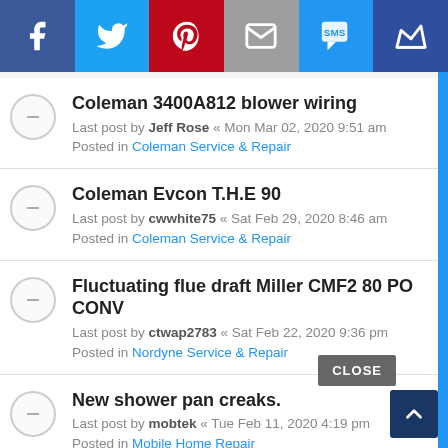[Figure (screenshot): Social sharing bar with icons: Facebook (dark blue), Twitter (light blue), Pinterest (red), Email (gray), SMS (blue), Crown (dark blue)]
Coleman 3400A812 blower wiring
Last post by Jeff Rose « Mon Mar 02, 2020 9:51 am
Posted in Coleman Service & Repair
Coleman Evcon T.H.E 90
Last post by cwwhite75 « Sat Feb 29, 2020 8:46 am
Posted in Coleman Service & Repair
Fluctuating flue draft Miller CMF2 80 PO CONV
Last post by ctwap2783 « Sat Feb 22, 2020 9:36 pm
Posted in Nordyne Service & Repair
New shower pan creaks.
Last post by mobtek « Tue Feb 11, 2020 4:19 pm
Posted in Mobile Home Repair